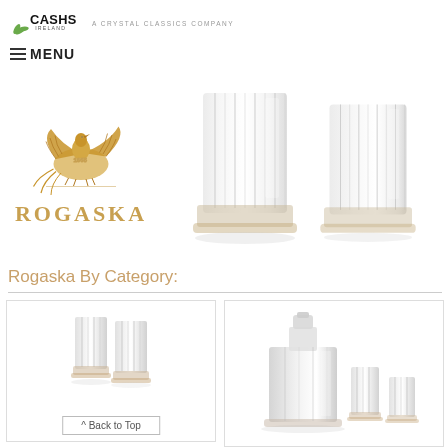[Figure (logo): Cashs Ireland logo with leaf/swan emblem and 'A Crystal Classics Company' tagline, with hamburger MENU below]
[Figure (logo): Rogaska brand logo with golden swan/phoenix illustration and 1665 date, with ROGASKA text in gold]
[Figure (photo): Two crystal cut whisky tumblers with vertical cut glass pattern, photographed on white background]
Rogaska By Category:
[Figure (photo): Two Rogaska crystal tumblers with vertical cut pattern, small product thumbnail]
[Figure (photo): Rogaska crystal decanter set with square decanter and two whisky glasses]
^ Back to Top